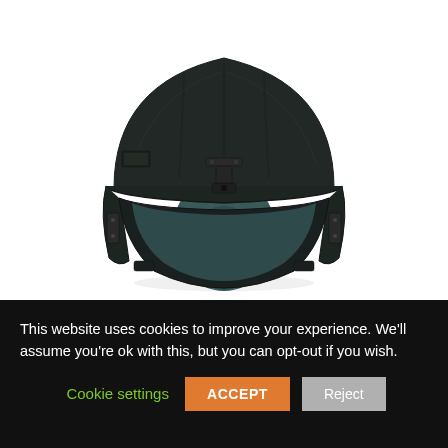[Figure (photo): Front-view photograph of a dark carbon-fiber military/tactical helmet mounted on a mannequin head. The helmet is black/dark green with a textured carbon fiber shell, a night-vision goggle mount bracket at the front center, a velcro patch on the left side, and a structured chin/face guard area. The mannequin head is teal/green colored and partially visible inside the helmet opening. Background is white.]
This website uses cookies to improve your experience. We'll assume you're ok with this, but you can opt-out if you wish.
Cookie settings  ACCEPT  Reject